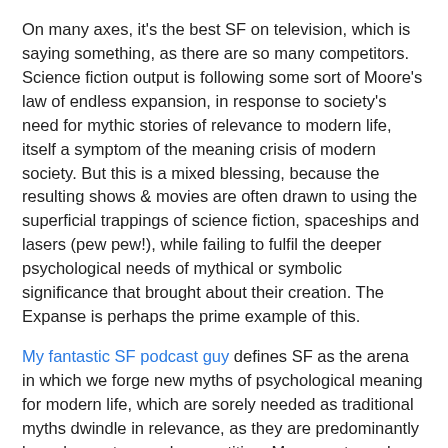On many axes, it's the best SF on television, which is saying something, as there are so many competitors. Science fiction output is following some sort of Moore's law of endless expansion, in response to society's need for mythic stories of relevance to modern life, itself a symptom of the meaning crisis of modern society. But this is a mixed blessing, because the resulting shows & movies are often drawn to using the superficial trappings of science fiction, spaceships and lasers (pew pew!), while failing to fulfil the deeper psychological needs of mythical or symbolic significance that brought about their creation. The Expanse is perhaps the prime example of this.
My fantastic SF podcast guy defines SF as the arena in which we forge new myths of psychological meaning for modern life, which are sorely needed as traditional myths dwindle in relevance, as they are predominantly based on nature and superstition. Movements such as spiritual atheism are a reflection that even the least spiritual amongst us recognize that something is missing.
I do concede that defining SF in this way is a bit of a cheat. It's somewhat aggrandizing, claiming any great mythic work as actually being part of the SF genre, an no doubt is a somewhat defensive reaction to mainstream dismissal of science fiction as puerile. But it